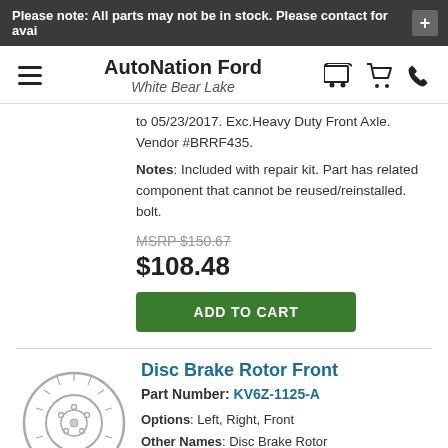Please note: All parts may not be in stock. Please contact for avai
AutoNation Ford White Bear Lake
to 05/23/2017. Exc.Heavy Duty Front Axle. Vendor #BRRF435. Notes: Included with repair kit. Part has related component that cannot be reused/reinstalled. bolt.
MSRP $150.67
$108.48
ADD TO CART
Disc Brake Rotor Front
Part Number: KV6Z-1125-A
Options: Left, Right, Front
Other Names: Disc Brake Rotor
Description: Transit Connect van. From 05/28/2018.
MSRP $129.33